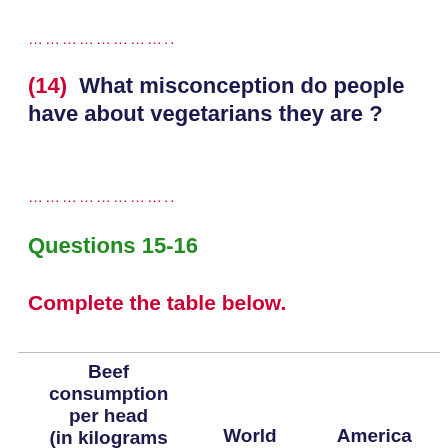…………………….
(14) What misconception do people have about vegetarians they are ?
…………………….
Questions 15-16
Complete the table below.
| Beef consumption per head (in kilograms | World | America |
| --- | --- | --- |